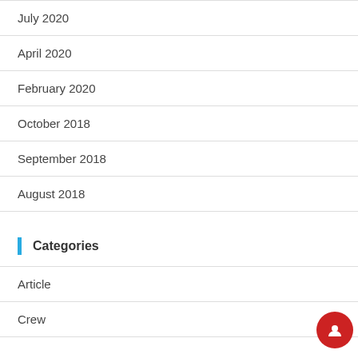July 2020
April 2020
February 2020
October 2018
September 2018
August 2018
Categories
Article
Crew
Meta